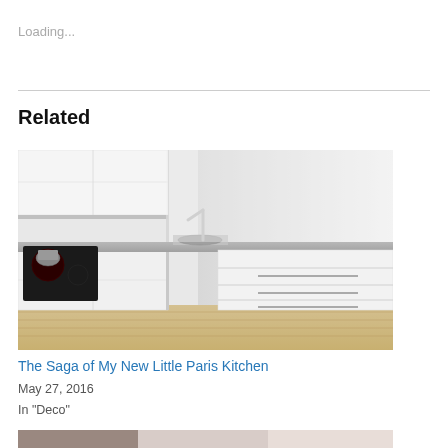Loading...
Related
[Figure (photo): Modern white L-shaped kitchen with gray countertop, induction cooktop, sink, and light wood floor]
The Saga of My New Little Paris Kitchen
May 27, 2016
In "Deco"
[Figure (photo): Partially visible second image at bottom of page, appears to show an outdoor or construction scene]